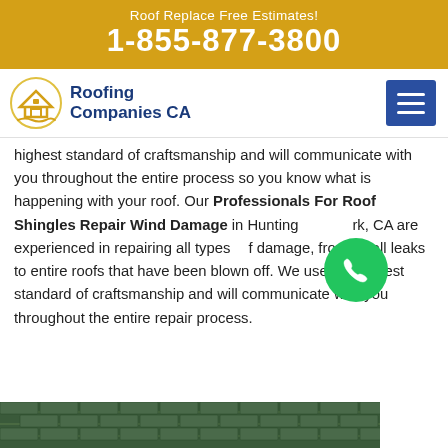Roof Replace Free Estimates!
1-855-877-3800
[Figure (logo): Roofing Companies CA logo with house icon and text]
highest standard of craftsmanship and will communicate with you throughout the entire process so you know what is happening with your roof. Our Professionals For Roof Shingles Repair Wind Damage in Huntington Park, CA are experienced in repairing all types of damage, from small leaks to entire roofs that have been blown off. We use the highest standard of craftsmanship and will communicate with you throughout the entire repair process.
[Figure (photo): Roofing tiles/shingles photo at bottom of page]